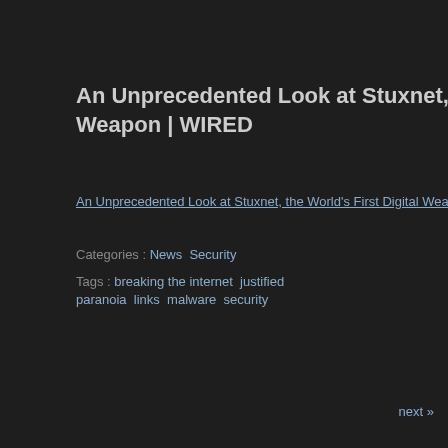An Unprecedented Look at Stuxnet, the World's First Digital Weapon | WIRED
An Unprecedented Look at Stuxnet, the World's First Digital Weapon | WIRED
Categories : News  Security
Tags : breaking the internet  justified paranoia  links  malware  security
next »